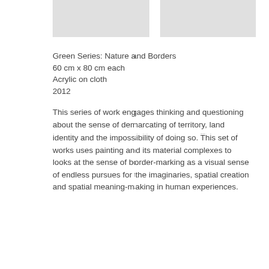[Figure (photo): Two side-by-side gray placeholder image blocks representing artworks from the Green Series: Nature and Borders]
Green Series: Nature and Borders
60 cm x 80 cm each
Acrylic on cloth
2012
This series of work engages thinking and questioning about the sense of demarcating of territory, land identity and the impossibility of doing so. This set of works uses painting and its material complexes to looks at the sense of border-marking as a visual sense of endless pursues for the imaginaries, spatial creation and spatial meaning-making in human experiences.